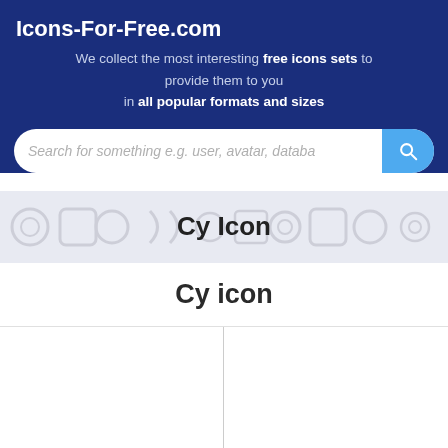Icons-For-Free.com
We collect the most interesting free icons sets to provide them to you in all popular formats and sizes
[Figure (screenshot): Search bar with placeholder text 'Search for something e.g. user, avatar, databa...' and a blue search button with magnifying glass icon]
Cy Icon
Cy icon
[Figure (illustration): Icon display area split into two panels by a vertical line, showing the Cy icon in different views]